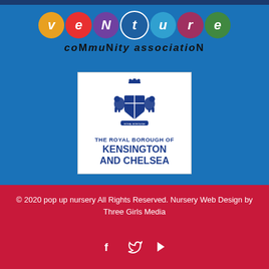[Figure (logo): Venture Community Association logo with colourful circles spelling 'venture' and text 'community association']
[Figure (logo): The Royal Borough of Kensington and Chelsea coat of arms logo in a white box]
© 2020 pop up nursery All Rights Reserved. Nursery Web Design by Three Girls Media
[Figure (infographic): Social media icons: Facebook, Twitter, Play button]